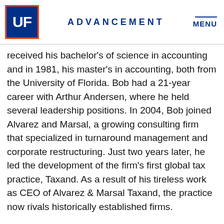UF | ADVANCEMENT | MENU
received his bachelor's of science in accounting and in 1981, his master's in accounting, both from the University of Florida. Bob had a 21-year career with Arthur Andersen, where he held several leadership positions. In 2004, Bob joined Alvarez and Marsal, a growing consulting firm that specialized in turnaround management and corporate restructuring. Just two years later, he led the development of the firm's first global tax practice, Taxand. As a result of his tireless work as CEO of Alvarez & Marsal Taxand, the practice now rivals historically established firms.
Bob sat on the Fisher School of Accounting Steering Committee for 24 years and the Warrington College of Business Dean's Advisory Board for 16 years. He was also the director of several charities, including Big